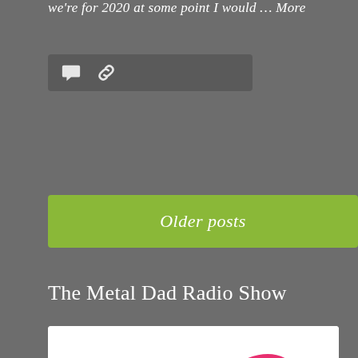we're for 2020 at some point I would … More
[Figure (other): Icon bar with comment bubble and chain link icons on dark background]
Older posts
The Metal Dad Radio Show
[Figure (logo): Cygnus Radio logo featuring a colorful swan made of yellow, orange, green, and pink swooping shapes, with the text 'cygnus radio' in bold black text below on white background]